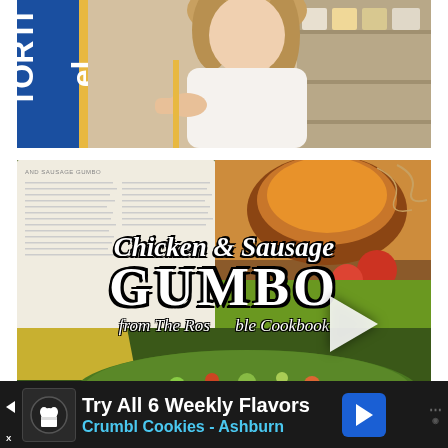[Figure (photo): Top portion of a video screenshot showing a woman in a white outfit holding something next to a blue promotional banner with gold strip in what appears to be a grocery store]
[Figure (screenshot): Video thumbnail showing a cookbook open to Chicken and Sausage Gumbo recipe page, with overlay text reading 'Chicken & Sausage GUMBO from The Rosabole Cookbook', a play button in the center, and a bowl of gumbo visible in the lower portion]
AND SAUSAGE GUMBO
Chicken & Sausage GUMBO from The Rosabole Cookbook
Try All 6 Weekly Flavors
Crumbl Cookies - Ashburn